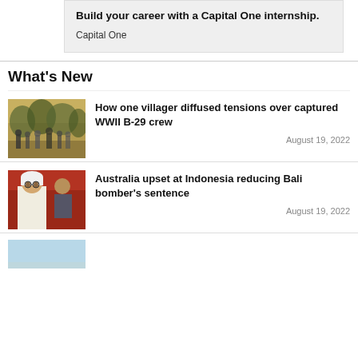Build your career with a Capital One internship.
Capital One
What's New
[Figure (photo): Sepia-toned historical photo of a group of people gathered outdoors, with trees in background.]
How one villager diffused tensions over captured WWII B-29 crew
August 19, 2022
[Figure (photo): Photo of a man wearing a white cap and robe, with others visible behind him.]
Australia upset at Indonesia reducing Bali bomber's sentence
August 19, 2022
[Figure (photo): Partial photo showing a light blue sky at bottom of page.]